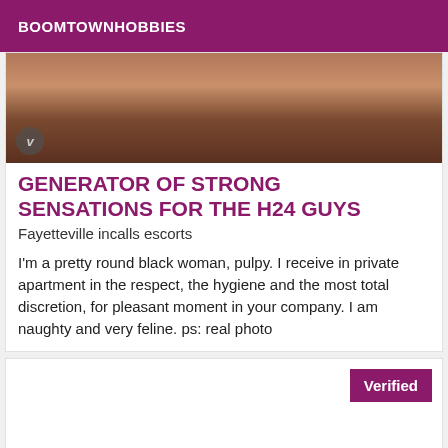BOOMTOWNHOBBIES
[Figure (photo): Partial body photo of a person in warm tones with a circular watermark logo overlay at bottom left]
GENERATOR OF STRONG SENSATIONS FOR THE H24 GUYS
Fayetteville incalls escorts
I'm a pretty round black woman, pulpy. I receive in private apartment in the respect, the hygiene and the most total discretion, for pleasant moment in your company. I am naughty and very feline. ps: real photo
[Figure (other): Second listing card with a Verified badge in purple at the top right]